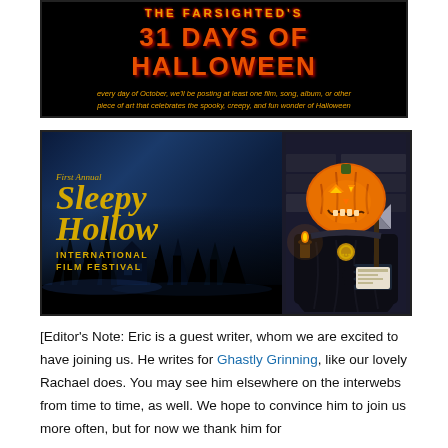[Figure (illustration): The Farsighted's 31 Days of Halloween banner. Black background with orange/red horror-style title text. Subtitle in orange italic font: 'every day of October, we'll be posting at least one film, song, album, or other piece of art that celebrates the spooky, creepy, and fun wonder of Halloween']
[Figure (illustration): First Annual Sleepy Hollow International Film Festival logo/banner. Dark blue night scene background with silhouette of haunted village. Gold/yellow serif text for festival name. Right side shows a Headless Horseman with glowing jack-o-lantern head holding an axe.]
[Editor's Note: Eric is a guest writer, whom we are excited to have joining us. He writes for Ghastly Grinning, like our lovely Rachael does. You may see him elsewhere on the interwebs from time to time, as well. We hope to convince him to join us more often, but for now we thank him for